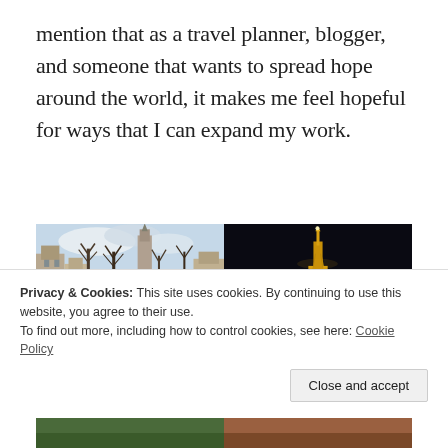mention that as a travel planner, blogger, and someone that wants to spread hope around the world, it makes me feel hopeful for ways that I can expand my work.
[Figure (photo): Two side-by-side travel photos: left shows Amsterdam canal with buildings and a church tower among bare trees under a cloudy sky; right shows the illuminated Eiffel Tower at night against a dark background.]
Privacy & Cookies: This site uses cookies. By continuing to use this website, you agree to their use.
To find out more, including how to control cookies, see here: Cookie Policy
[Figure (photo): Two partial travel photos at the bottom of the page: left shows a green outdoor scene, right shows a reddish-brown landscape or cultural scene.]